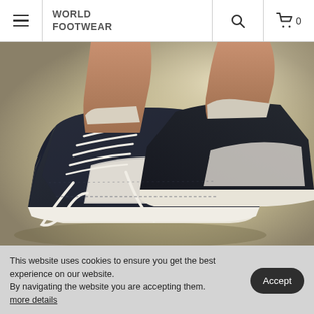WORLD FOOTWEAR
[Figure (photo): Close-up photo of someone wearing dark navy/black Vans Old Skool sneakers with white laces and a white stripe on the side, on a concrete surface in natural light.]
This website uses cookies to ensure you get the best experience on our website.
By navigating the website you are accepting them. more details